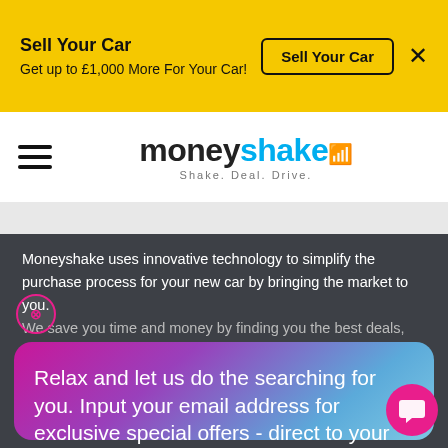Sell Your Car — Get up to £1,000 More For Your Car!
[Figure (logo): Moneyshake logo with tagline Shake. Deal. Drive.]
Moneyshake uses innovative technology to simplify the purchase process for your new car by bringing the market to you. We save you time and money by finding you the best deals, bringing...
Relax and let us do the searching for you. Input your email address for exclusive special offers - direct to your inbox!
Email address
Sign up!